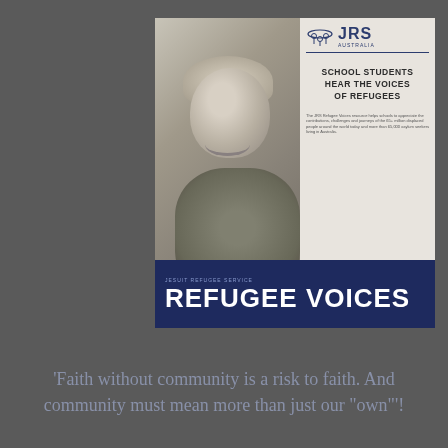[Figure (other): Brochure cover for 'Refugee Voices' by Jesuit Refugee Service Australia. Features a black-and-white photo of a smiling child on the left, JRS Australia logo and text 'School Students Hear the Voices of Refugees' on the upper right, and a dark navy banner at the bottom reading 'Jesuit Refugee Service / REFUGEE VOICES' in large bold white letters.]
'Faith without community is a risk to faith. And community must mean more than just our "own"!'.